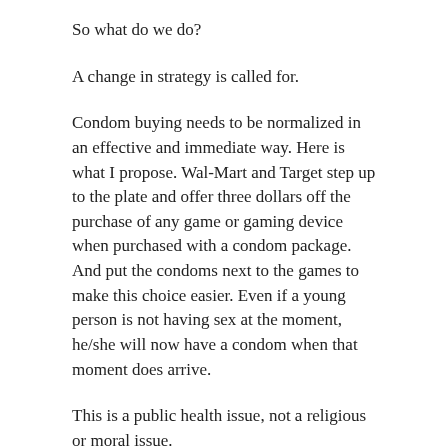So what do we do?
A change in strategy is called for.
Condom buying needs to be normalized in an effective and immediate way. Here is what I propose. Wal-Mart and Target step up to the plate and offer three dollars off the purchase of any game or gaming device when purchased with a condom package. And put the condoms next to the games to make this choice easier. Even if a young person is not having sex at the moment, he/she will now have a condom when that moment does arrive.
This is a public health issue, not a religious or moral issue.